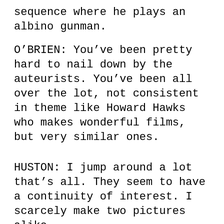sequence where he plays an albino gunman.
O'BRIEN: You've been pretty hard to nail down by the auteurists. You've been all over the lot, not consistent in theme like Howard Hawks who makes wonderful films, but very similar ones.
HUSTON: I jump around a lot that's all. They seem to have a continuity of interest. I scarcely make two pictures alike.
O'BRIEN: Do you think a theme has evolved?